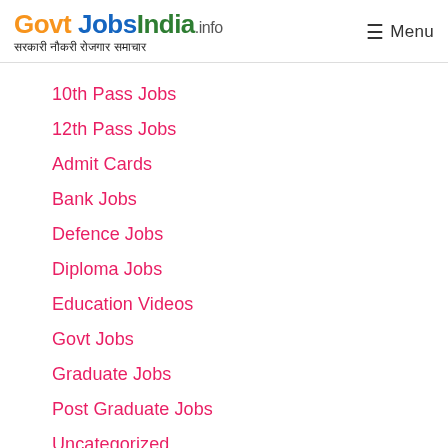Govt Jobs India .info — सरकारी नौकरी रोजगार समाचार — Menu
10th Pass Jobs
12th Pass Jobs
Admit Cards
Bank Jobs
Defence Jobs
Diploma Jobs
Education Videos
Govt Jobs
Graduate Jobs
Post Graduate Jobs
Uncategorized